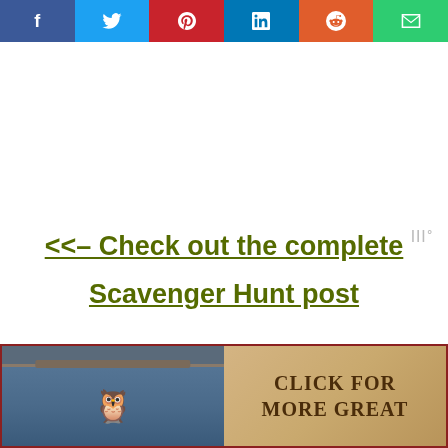[Figure (other): Social media sharing bar with icons for Facebook, Twitter, Pinterest, LinkedIn, Reddit, and Email]
<<– Check out the complete Scavenger Hunt post
[Figure (other): Bottom banner with left side showing a blue scroll/bag image with a Harry Potter style sticker, and right side showing parchment-style background with text CLICK FOR MORE GREAT]